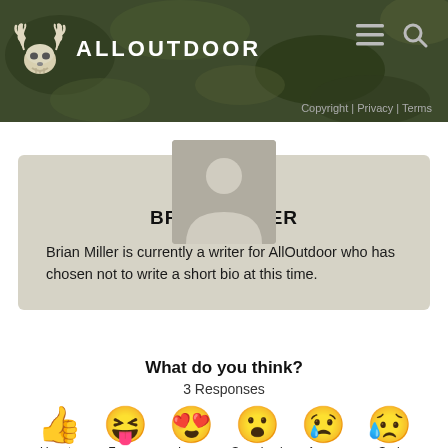ALLOUTDOOR | Copyright | Privacy | Terms
[Figure (photo): Default user avatar placeholder (silhouette of person on gray background)]
BRIAN MILLER
Brian Miller is currently a writer for AllOutdoor who has chosen not to write a short bio at this time.
What do you think?
3 Responses
[Figure (infographic): Six emoji reaction buttons: Upvote (thumbs up), Funny (laughing face with tongue), Love (heart eyes), Surprised (surprised face), Angry (crying face), Sad (sad face with tear)]